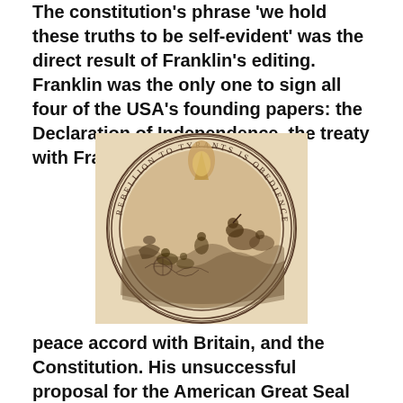The constitution's phrase 'we hold these truths to be self-evident' was the direct result of Franklin's editing. Franklin was the only one to sign all four of the USA's founding papers: the Declaration of Independence, the treaty with France, the
[Figure (illustration): A circular seal/medallion with the inscription 'REBELLION TO TYRANTS IS OBEDIENCE TO GOD' around the border. The interior depicts a historical scene showing figures in turbulent waters, possibly referencing the parting of the Red Sea with Pharaoh's army. Engraving style in sepia/brown tones on a tan background.]
peace accord with Britain, and the Constitution. His unsuccessful proposal for the American Great Seal was to have Pharaoh being swallowed by the Red Sea